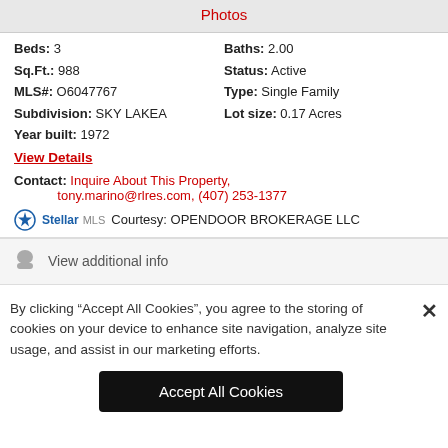[Figure (photo): Property photo strip with 'Photos' label in red]
Beds: 3   Baths: 2.00
Sq.Ft.: 988   Status: Active
MLS#: O6047767   Type: Single Family
Subdivision: SKY LAKEA   Lot size: 0.17 Acres
Year built: 1972
View Details
Contact: Inquire About This Property, tony.marino@rlres.com, (407) 253-1377
Courtesy: OPENDOOR BROKERAGE LLC
View additional info
By clicking “Accept All Cookies”, you agree to the storing of cookies on your device to enhance site navigation, analyze site usage, and assist in our marketing efforts.
Accept All Cookies